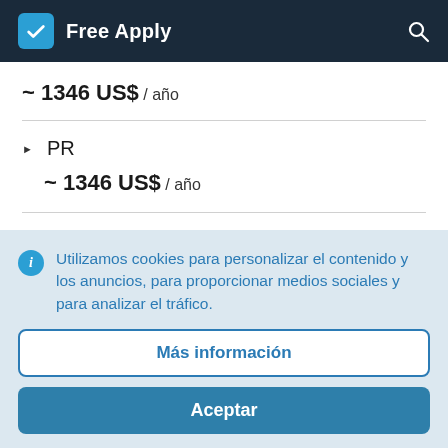Free Apply
~ 1346 US$ / año
▶ PR
~ 1346 US$ / año
▶ Periodismo
Utilizamos cookies para personalizar el contenido y los anuncios, para proporcionar medios sociales y para analizar el tráfico.
Más información
Aceptar